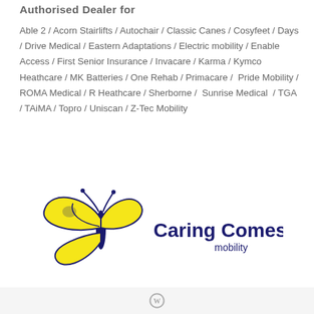Authorised Dealer for
Able 2 / Acorn Stairlifts / Autochair / Classic Canes / Cosyfeet / Days / Drive Medical / Eastern Adaptations / Electric mobility / Enable Access / First Senior Insurance / Invacare / Karma / Kymco Heathcare / MK Batteries / One Rehab / Primacare / Pride Mobility / ROMA Medical / R Heathcare / Sherborne / Sunrise Medical / TGA / TAiMA / Topro / Uniscan / Z-Tec Mobility
[Figure (logo): Caring Comes First mobility logo with a yellow and navy butterfly and the text 'Caring Comes First mobility' in navy blue.]
WordPress icon